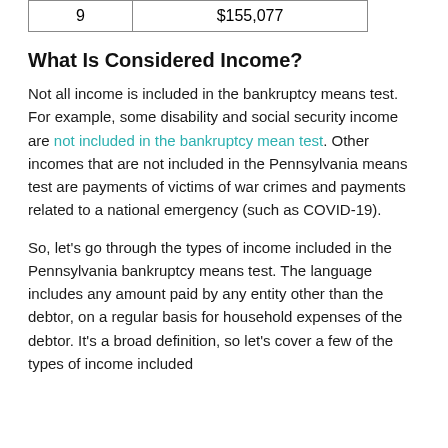| 9 | $155,077 |
What Is Considered Income?
Not all income is included in the bankruptcy means test. For example, some disability and social security income are not included in the bankruptcy mean test. Other incomes that are not included in the Pennsylvania means test are payments of victims of war crimes and payments related to a national emergency (such as COVID-19).
So, let's go through the types of income included in the Pennsylvania bankruptcy means test. The language includes any amount paid by any entity other than the debtor, on a regular basis for household expenses of the debtor. It's a broad definition, so let's cover a few of the types of income included